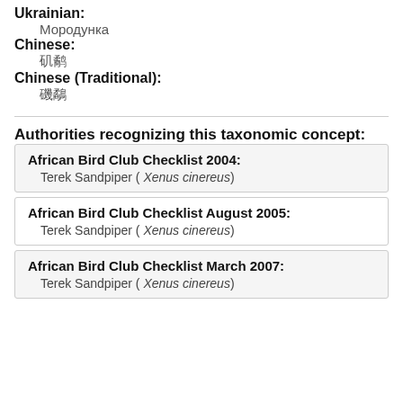Ukrainian:
Мородунка
Chinese:
矶鹬
Chinese (Traditional):
磯鷸
Authorities recognizing this taxonomic concept:
African Bird Club Checklist 2004: Terek Sandpiper ( Xenus cinereus)
African Bird Club Checklist August 2005: Terek Sandpiper ( Xenus cinereus)
African Bird Club Checklist March 2007: Terek Sandpiper ( Xenus cinereus)